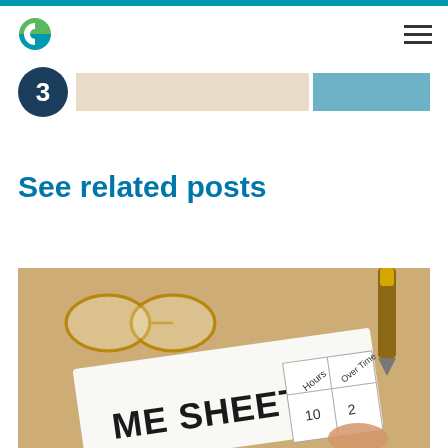[Figure (infographic): Step 3 infographic strip with a dark navy circle containing the number 3, followed by a beige bar and a blue/teal bar]
See related posts
[Figure (photo): Close-up photo of a time sheet document with columns for Hours and Over Time, showing value 10 and 2, with glasses and a pen in the background on a wooden desk]